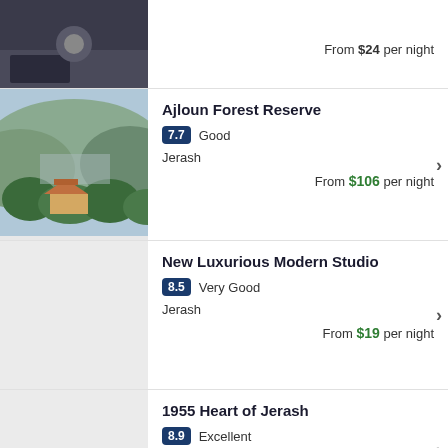From $24 per night
Ajloun Forest Reserve
7.7 Good
Jerash
From $106 per night
New Luxurious Modern Studio
8.5 Very Good
Jerash
From $19 per night
1955 Heart of Jerash
8.9 Excellent
Jerash